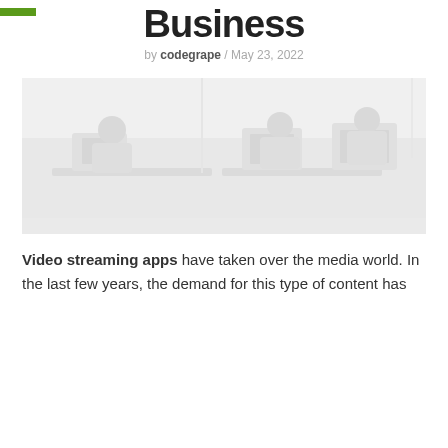Business
by codegrape / May 23, 2022
[Figure (photo): Faded/washed-out photo of people working in an office environment, with desks and computer monitors visible.]
Video streaming apps have taken over the media world. In the last few years, the demand for this type of content has